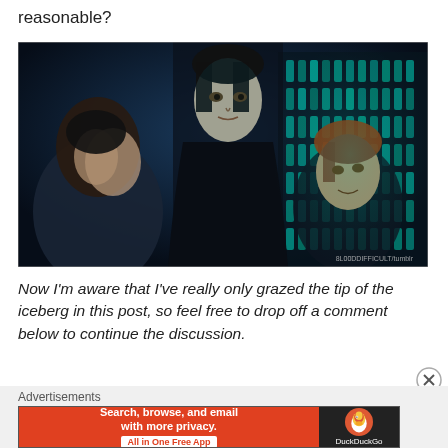reasonable?
[Figure (photo): A movie still from Harry Potter showing Professor Snape (center, tall in dark robes) standing over two students in a dimly lit dungeon-like room with glowing blue-green bottles in the background. Watermark text reads 'BLOODDIFFICULT/tumblr'.]
Now I'm aware that I've really only grazed the tip of the iceberg in this post, so feel free to drop off a comment below to continue the discussion.
Advertisements
[Figure (screenshot): DuckDuckGo advertisement banner. Left side (orange/red): 'Search, browse, and email with more privacy. All in One Free App'. Right side (dark): DuckDuckGo logo (duck icon) and 'DuckDuckGo' text.]